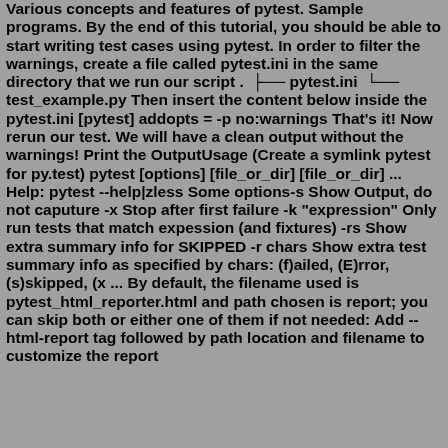Various concepts and features of pytest. Sample programs. By the end of this tutorial, you should be able to start writing test cases using pytest. In order to filter the warnings, create a file called pytest.ini in the same directory that we run our script . ├── pytest.ini └── test_example.py Then insert the content below inside the pytest.ini [pytest] addopts = -p no:warnings That's it! Now rerun our test. We will have a clean output without the warnings! Print the OutputUsage (Create a symlink pytest for py.test) pytest [options] [file_or_dir] [file_or_dir] ... Help: pytest --help|zless Some options-s Show Output, do not caputure -x Stop after first failure -k "expression" Only run tests that match expession (and fixtures) -rs Show extra summary info for SKIPPED -r chars Show extra test summary info as specified by chars: (f)ailed, (E)rror, (s)skipped, (x ... By default, the filename used is pytest_html_reporter.html and path chosen is report; you can skip both or either one of them if not needed: Add --html-report tag followed by path location and filename to customize the report